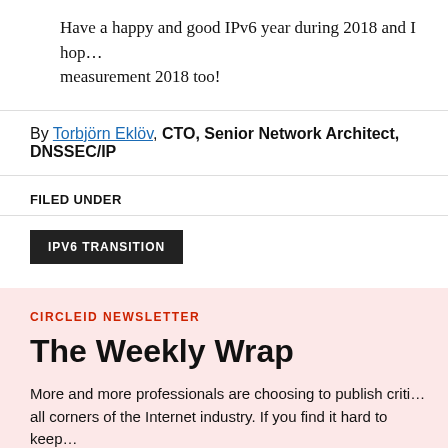Have a happy and good IPv6 year during 2018 and I hop… measurement 2018 too!
By Torbjörn Eklöv, CTO, Senior Network Architect, DNSSEC/IP…
FILED UNDER
IPV6 TRANSITION
CIRCLEID NEWSLETTER
The Weekly Wrap
More and more professionals are choosing to publish criti… all corners of the Internet industry. If you find it hard to keep… subscribing to our weekly digest. We will provide you a com… once a week sent directly to your inbox. It's a quick and e…